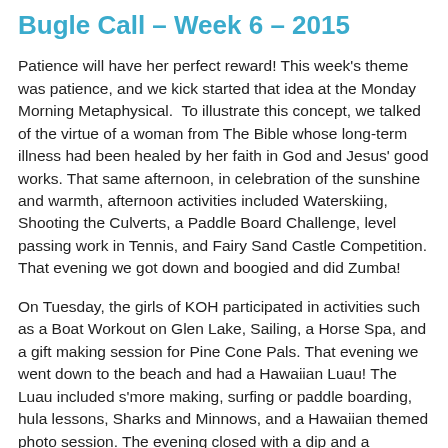Bugle Call – Week 6 – 2015
Patience will have her perfect reward! This week's theme was patience, and we kick started that idea at the Monday Morning Metaphysical.  To illustrate this concept, we talked of the virtue of a woman from The Bible whose long-term illness had been healed by her faith in God and Jesus' good works. That same afternoon, in celebration of the sunshine and warmth, afternoon activities included Waterskiing, Shooting the Culverts, a Paddle Board Challenge, level passing work in Tennis, and Fairy Sand Castle Competition. That evening we got down and boogied and did Zumba!
On Tuesday, the girls of KOH participated in activities such as a Boat Workout on Glen Lake, Sailing, a Horse Spa, and a gift making session for Pine Cone Pals. That evening we went down to the beach and had a Hawaiian Luau! The Luau included s'more making, surfing or paddle boarding, hula lessons, Sharks and Minnows, and a Hawaiian themed photo session. The evening closed with a dip and a beautiful sunset